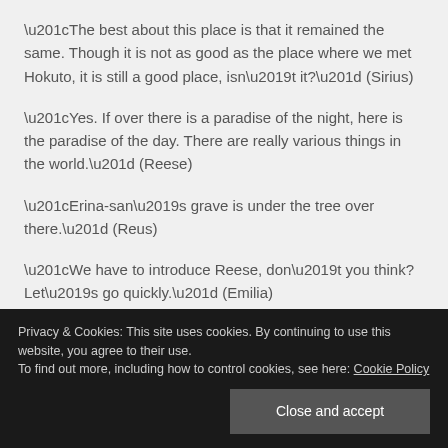“The best about this place is that it remained the same. Though it is not as good as the place where we met Hokuto, it is still a good place, isn’t it?” (Sirius)
“Yes. If over there is a paradise of the night, here is the paradise of the day. There are really various things in the world.” (Reese)
“Erina-san’s grave is under the tree over there.” (Reus)
“We have to introduce Reese, don’t you think? Let’s go quickly.” (Emilia)
Privacy & Cookies: This site uses cookies. By continuing to use this website, you agree to their use.
To find out more, including how to control cookies, see here: Cookie Policy